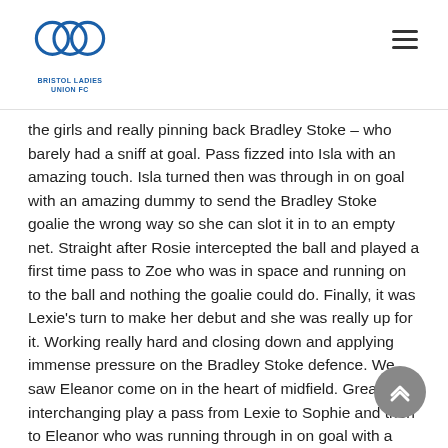Bristol Ladies Union FC
the girls and really pinning back Bradley Stoke – who barely had a sniff at goal. Pass fizzed into Isla with an amazing touch. Isla turned then was through in on goal with an amazing dummy to send the Bradley Stoke goalie the wrong way so she can slot it in to an empty net. Straight after Rosie intercepted the ball and played a first time pass to Zoe who was in space and running on to the ball and nothing the goalie could do. Finally, it was Lexie's turn to make her debut and she was really up for it. Working really hard and closing down and applying immense pressure on the Bradley Stoke defence. We saw Eleanor come on in the heart of midfield. Great interchanging play a pass from Lexie to Sophie and then to Eleanor who was running through in on goal with a powerful shot but the goalie was equal to it! (Was a really good chance). Lexie from the wide providing amazing crosses into the box like prime Beckham unfortunately no one in the box to snatch at the chance. Finally saw another change seeing Susie moving into midfield. We had a cross and it gave Isla a chance to swing one in and it fell to Susie